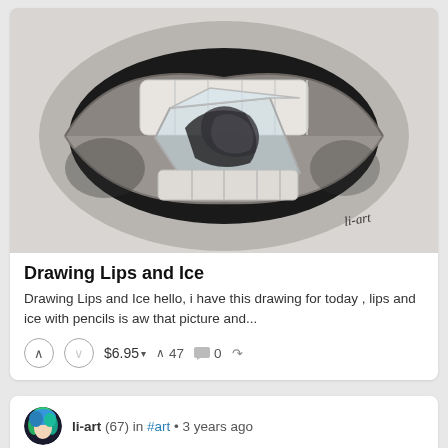[Figure (illustration): Pencil drawing of lips with an ice cube inside, reflecting a figure. Signed 'li-art'. Black and white artwork on light gray background.]
Drawing Lips and Ice
Drawing Lips and Ice hello, i have this drawing for today , lips and ice with pencils is aw that picture and...
↑ ↓ $6.95 ▾   ∧ 47   💬 0   ↻
li-art (67) in #art • 3 years ago
[Figure (photo): Partial image of a figure with blue hair, cut off at bottom of page.]